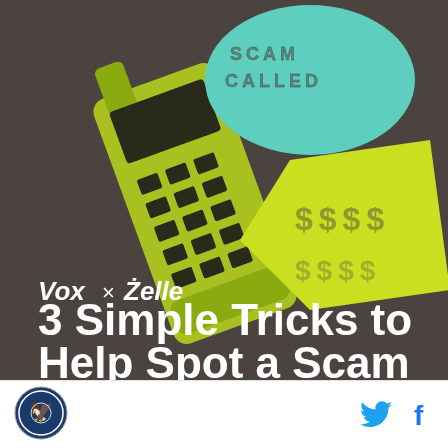[Figure (illustration): Illustration on dark brown/gray background showing a retro yellow-green brick mobile phone tilted diagonally, with a teal speech bubble above showing dotted text 'SCAM CALLED' and a yellow-green angular speech bubble with dotted dollar signs '$$$$'. Below the illustration: 'Vox × Zelle' branding and title '3 Simple Tricks to Help Spot a Scam' in white bold text.]
[Figure (logo): Circular blue/navy seal/badge logo in footer bar (left side)]
[Figure (other): Twitter bird icon and Facebook 'f' icon in cyan/blue colors in footer bar (right side)]